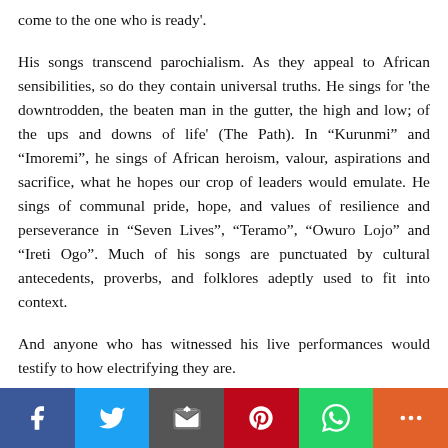come to the one who is ready'.
His songs transcend parochialism. As they appeal to African sensibilities, so do they contain universal truths. He sings for 'the downtrodden, the beaten man in the gutter, the high and low; of the ups and downs of life' (The Path). In “Kurunmi” and “Imoremi”, he sings of African heroism, valour, aspirations and sacrifice, what he hopes our crop of leaders would emulate. He sings of communal pride, hope, and values of resilience and perseverance in “Seven Lives”, “Teramo”, “Owuro Lojo” and “Ireti Ogo”. Much of his songs are punctuated by cultural antecedents, proverbs, and folklores adeptly used to fit into context.
And anyone who has witnessed his live performances would testify to how electrifying they are.
Beautiful Nubia is not just a musician, he is the message he
Social share bar: Facebook, Twitter, Email, Pinterest, WhatsApp, More